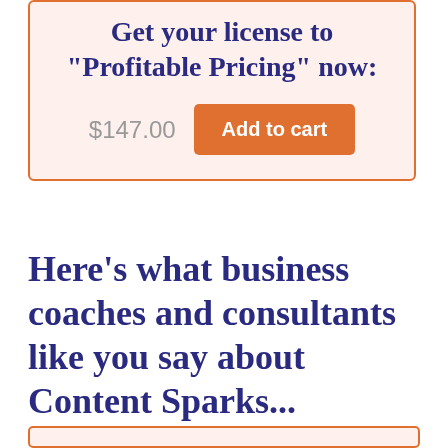Get your license to "Profitable Pricing" now:
$147.00
Add to cart
Here's what business coaches and consultants like you say about Content Sparks...